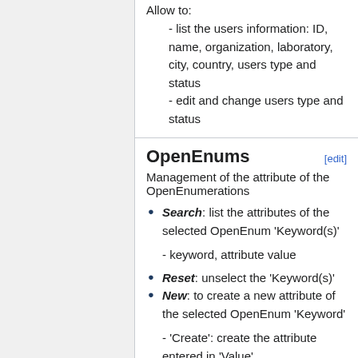Allow to:
- list the users information: ID, name, organization, laboratory, city, country, users type and status
- edit and change users type and status
OpenEnums
Management of the attribute of the OpenEnumerations
Search: list the attributes of the selected OpenEnum 'Keyword(s)'
- keyword, attribute value
Reset: unselect the 'Keyword(s)'
New: to create a new attribute of the selected OpenEnum 'Keyword'
- 'Create': create the attribute entered in 'Value'
- 'Cancel': exit the 'New' mode